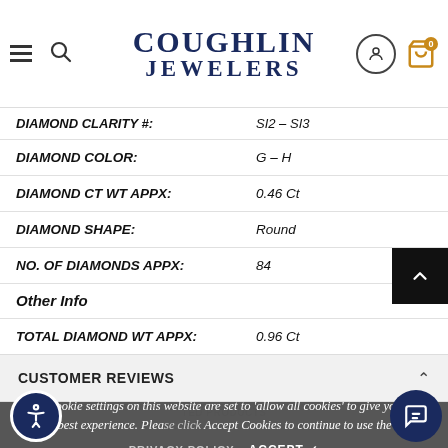Coughlin Jewelers
| Attribute | Value |
| --- | --- |
| DIAMOND CLARITY #: | SI2 – SI3 |
| DIAMOND COLOR: | G – H |
| DIAMOND CT WT APPX: | 0.46 Ct |
| DIAMOND SHAPE: | Round |
| NO. OF DIAMONDS APPX: | 84 |
| Other Info |  |
| TOTAL DIAMOND WT APPX: | 0.96 Ct |
CUSTOMER REVIEWS
The cookie settings on this website are set to 'allow all cookies' to give you the very best experience. Please click Accept Cookies to continue to use the site.
PRIVACY POLICY   ACCEPT ✓